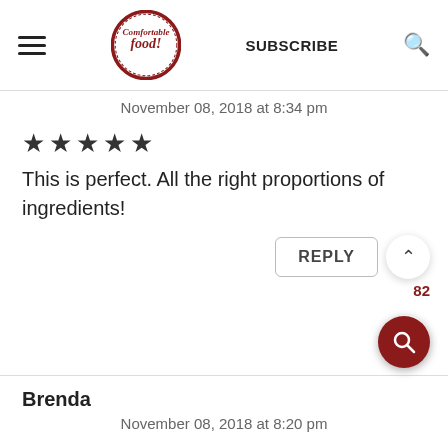Comfortable food — SUBSCRIBE
November 08, 2018 at 8:34 pm
[Figure (other): 5 filled black stars rating]
This is perfect. All the right proportions of ingredients!
REPLY
82
[Figure (other): Heart/like button icon]
Brenda
November 08, 2018 at 8:20 pm
[Figure (other): 5 empty/gray stars rating]
[Figure (other): Red circle search FAB button]